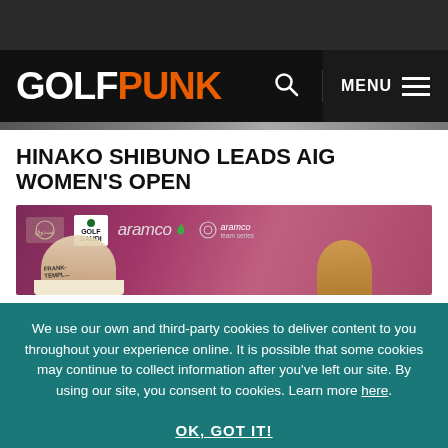[Figure (logo): GolfPunk website header with logo, search icon, and menu button on black background]
HINAKO SHIBUNO LEADS AIG WOMEN'S OPEN
[Figure (photo): Golf players at a press conference with Golf Saudi and Aramco sponsor banners in the background]
We use our own and third-party cookies to deliver content to you throughout your experience online. It is possible that some cookies may continue to collect information after you've left our site. By using our site, you consent to cookies. Learn more here.
OK, GOT IT!